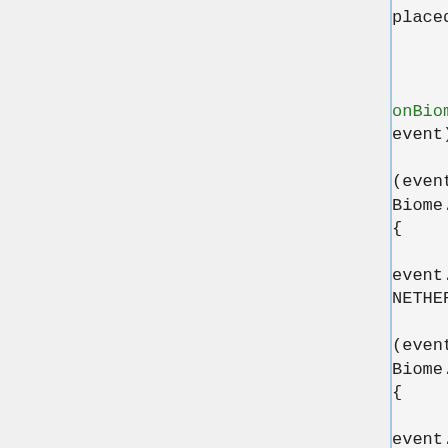[Figure (screenshot): Java source code snippet showing a public static void onBiomeLoadingEvent method with conditional checks for BiomeCategory NETHER, THEEND, and else branches, each calling event.getGeneration().addFeature with different ore gen variables.]